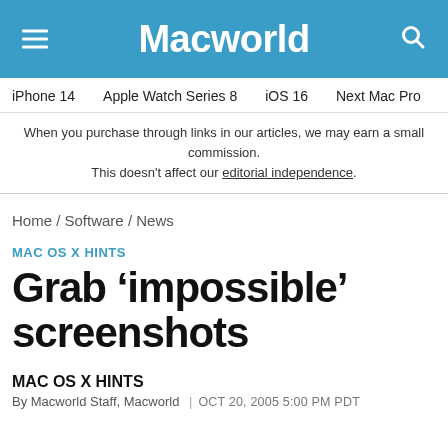Macworld
iPhone 14 | Apple Watch Series 8 | iOS 16 | Next Mac Pro | iPhone d
When you purchase through links in our articles, we may earn a small commission. This doesn't affect our editorial independence.
Home / Software / News
MAC OS X HINTS
Grab ‘impossible’ screenshots
MAC OS X HINTS
By Macworld Staff, Macworld | OCT 20, 2005 5:00 PM PDT